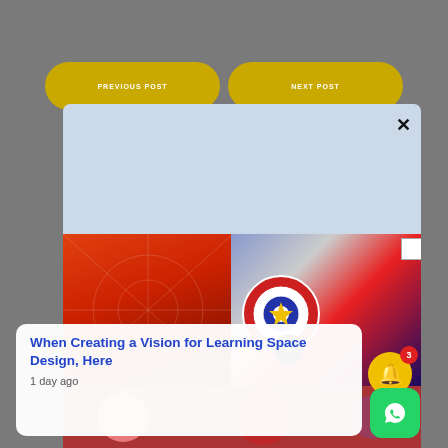[Figure (screenshot): Website screenshot showing a modal dialog with navigation buttons (PREVIOUS POST, NEXT POST), a light blue modal with two yellow horizontal lines, a superhero cosplay photo featuring Spiderman, Captain America, Iron Man and other Marvel characters at a JINZZY branded event. An article card popup reads 'When Creating a Vision for Learning Space Design, Here' from 1 day ago. A notification bell with badge showing 3, and a WhatsApp floating button are visible. An X close button appears on the photo.]
PREVIOUS POST
NEXT POST
JINZZY
X
3
When Creating a Vision for Learning Space Design, Here
1 day ago